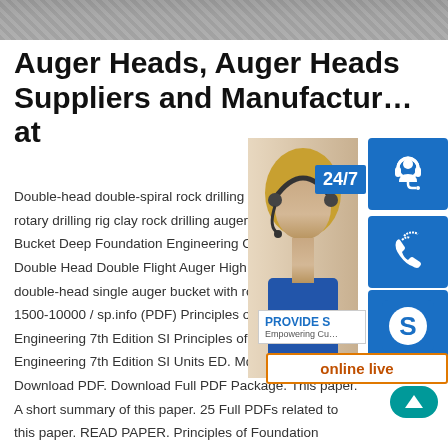[Figure (photo): Grayscale photo of rocky ground or gravel at the top of the page]
Auger Heads, Auger Heads Suppliers and Manufacturers at
Double-head double-spiral rock drilling auger, rotary drilling rig clay rock drilling auger. Bucket Deep Foundation Engineering Co., Double Head Double Flight Auger High quality double-head single auger bucket with ro. 1500-10000 / sp.info (PDF) Principles of Foundation Engineering 7th Edition SI Principles of Foundation Engineering 7th Edition SI Units ED. Md.lokman H. Download PDF. Download Full PDF Package. This paper. A short summary of this paper. 25 Full PDFs related to this paper. READ PAPER. Principles of Foundation
[Figure (infographic): Customer service overlay panel with 24/7 label, photo of woman with headset, blue icon boxes for headset/phone/Skype, PROVIDE Empowering Customers banner, online live button, and teal up-arrow circle]